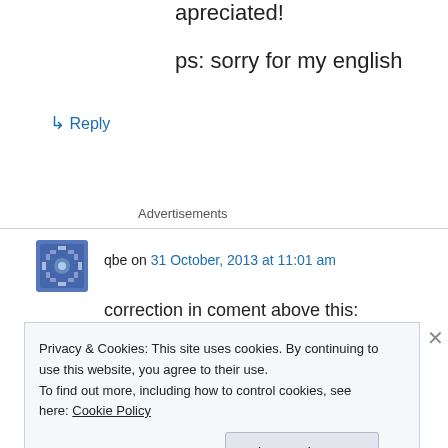apreciated!
ps: sorry for my english
↳ Reply
Advertisements
qbe on 31 October, 2013 at 11:01 am
correction in coment above this:
Privacy & Cookies: This site uses cookies. By continuing to use this website, you agree to their use.
To find out more, including how to control cookies, see here: Cookie Policy
Close and accept